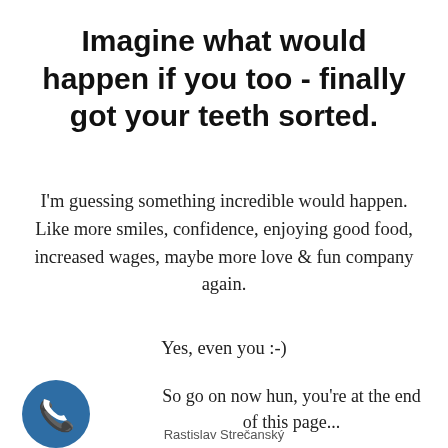Imagine what would happen if you too - finally got your teeth sorted.
I'm guessing something incredible would happen. Like more smiles, confidence, enjoying good food, increased wages, maybe more love & fun company again.
Yes, even you :-)
So go on now hun, you're at the end of this page...
Rastislav Strečanský